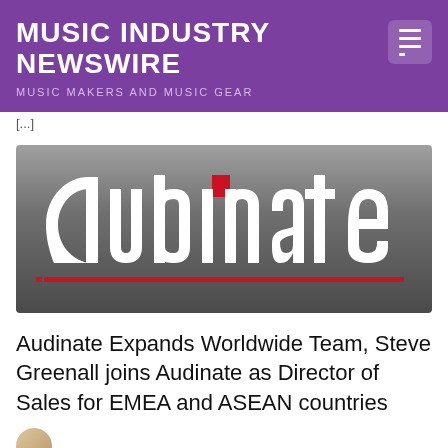MUSIC INDUSTRY NEWSWIRE
MUSIC MAKERS AND MUSIC GEAR
[...]
[Figure (logo): Audinate company logo — white stylized 'audinate' wordmark with a red square accent above the letter 'i' and a red horizontal line beneath, on a dark grey gradient background]
Audinate Expands Worldwide Team, Steve Greenall joins Audinate as Director of Sales for EMEA and ASEAN countries